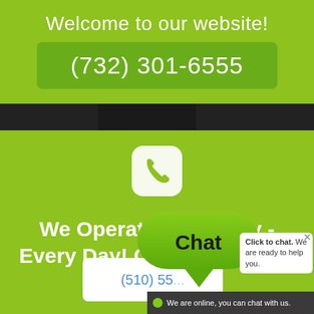Welcome to our website!
(732) 301-6555
[Figure (illustration): Dark bar with background image (partial vehicle/scene) spanning full width]
[Figure (illustration): White rounded square icon containing a green phone handset symbol]
We Operate 24h A Day - Every Day! Contact Us Now
[Figure (illustration): Green speech bubble chat widget with 'Chat' text label and triangle pointer at bottom]
Click to chat. We are ready to help you.
(510) 55...
We are online, you can chat with us.